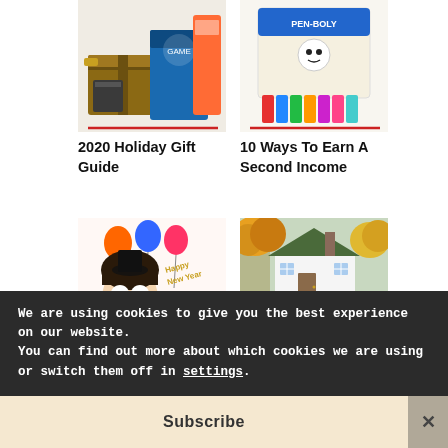[Figure (photo): Partial top image showing gift boxes and product packaging on the left side]
[Figure (photo): Partial top image showing colored markers/pens product packaging on the right side]
2020 Holiday Gift Guide
10 Ways To Earn A Second Income
[Figure (illustration): Cartoon character with Happy New Year 2020 balloons and decorations]
[Figure (photo): Autumn house with yellow trees - home downsizing article image]
Happy New Year's from Bbproductreviews!!
Handy Hints for Downsizing Your Home
We are using cookies to give you the best experience on our website.
You can find out more about which cookies we are using or switch them off in settings.
Subscribe